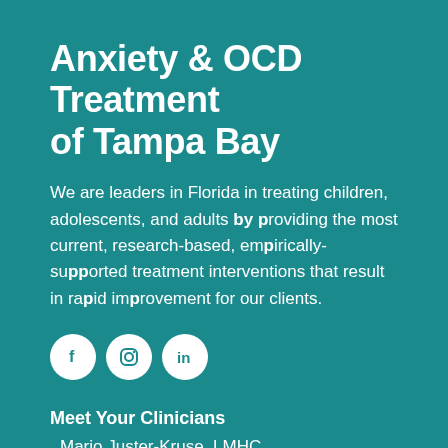Anxiety & OCD Treatment of Tampa Bay
We are leaders in Florida in treating children, adolescents, and adults by providing the most current, research-based, empirically-supported treatment interventions that result in rapid improvement for our clients.
[Figure (illustration): Three social media icon circles: Facebook (f), Instagram (camera icon), LinkedIn (in)]
Meet Your Clinicians
Mario Juster-Kruse, LMHC
Matt McCann, LMHC